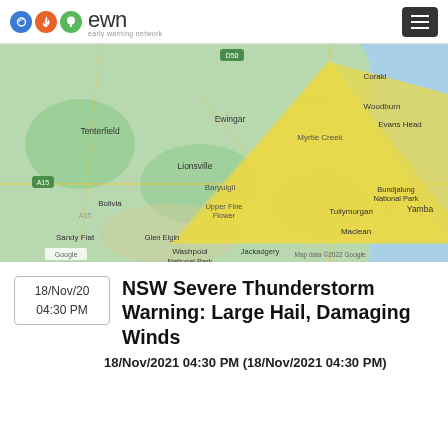ewn early warning network
[Figure (map): Google Maps view of northern NSW Australia showing a yellow triangle polygon indicating severe thunderstorm warning area over regions including Tenterfield, Lionsville, Baryulgil, Upper Fine Flower, Myrtle Creek, Woodburn, Evans Head, Bundjalung National Park, Yamba, Maclean, Tullymorgan, Washpool National Park, Glen Elgin, Jackadgery. Map data ©2022 Google.]
18/Nov/20 04:30 PM
NSW Severe Thunderstorm Warning: Large Hail, Damaging Winds
18/Nov/2021 04:30 PM (18/Nov/2021 04:30 PM)